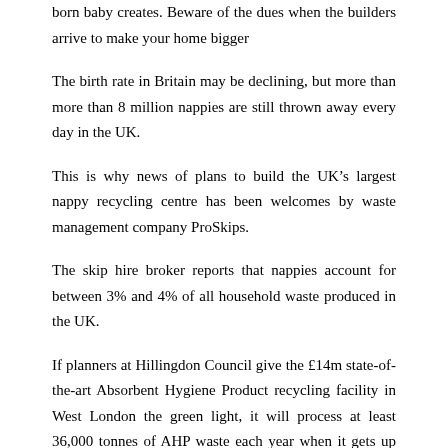born baby creates. Beware of the dues when the builders arrive to make your home bigger
The birth rate in Britain may be declining, but more than more than 8 million nappies are still thrown away every day in the UK.
This is why news of plans to build the UK’s largest nappy recycling centre has been welcomes by waste management company ProSkips.
The skip hire broker reports that nappies account for between 3% and 4% of all household waste produced in the UK.
If planners at Hillingdon Council give the £14m state-of-the-art Absorbent Hygiene Product recycling facility in West London the green light, it will process at least 36,000 tonnes of AHP waste each year when it gets up and running in early 2017.
But disposable nappies are not just the only source of waste – and cost – associated with a new-born child.
Move or Improve?